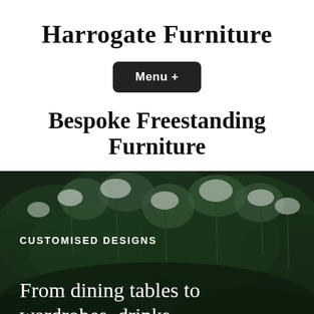Harrogate Furniture
Menu +
Bespoke Freestanding Furniture
[Figure (photo): Dark moody outdoor photo of wild plants and white flowers against a dark green background]
CUSTOMISED DESIGNS
From dining tables to wardrobes, drinks